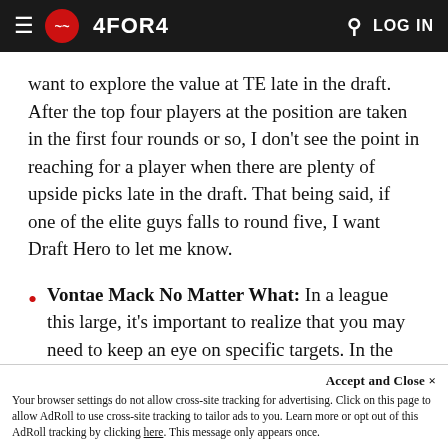4FOR4 — LOG IN
want to explore the value at TE late in the draft. After the top four players at the position are taken in the first four rounds or so, I don't see the point in reaching for a player when there are plenty of upside picks late in the draft. That being said, if one of the elite guys falls to round five, I want Draft Hero to let me know.
Vontae Mack No Matter What: In a league this large, it's important to realize that you may need to keep an eye on specific targets. In the 2015 movie Draft Day, Kevin Costner's character writes a note to himself to draft Vontae Mack no matter what. In this draft, I'll always want...
Accept and Close ×
Your browser settings do not allow cross-site tracking for advertising. Click on this page to allow AdRoll to use cross-site tracking to tailor ads to you. Learn more or opt out of this AdRoll tracking by clicking here. This message only appears once.